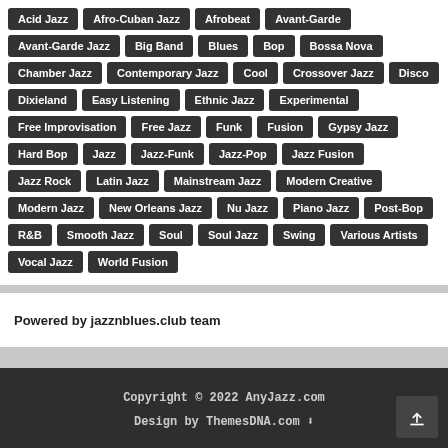Acid Jazz, Afro-Cuban Jazz, Afrobeat, Avant-Garde, Avant-Garde Jazz, Big Band, Blues, Bop, Bossa Nova, Chamber Jazz, Contemporary Jazz, Cool, Crossover Jazz, Disco, Dixieland, Easy Listening, Ethnic Jazz, Experimental, Free Improvisation, Free Jazz, Funk, Fusion, Gypsy Jazz, Hard Bop, Jazz, Jazz-Funk, Jazz-Pop, Jazz Fusion, Jazz Rock, Latin Jazz, Mainstream Jazz, Modern Creative, Modern Jazz, New Orleans Jazz, Nu Jazz, Piano Jazz, Post-Bop, R&B, Smooth Jazz, Soul, Soul Jazz, Swing, Various Artists, Vocal Jazz, World Fusion
Powered by jazznblues.club team
Copyright © 2022 AnyJazz.com
Design by ThemesDNA.com